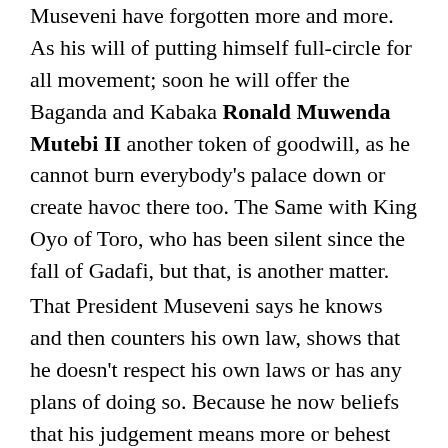...the history has taught us. And President Museveni have forgotten more and more. As his will of putting himself full-circle for all movement; soon he will offer the Baganda and Kabaka Ronald Muwenda Mutebi II another token of goodwill, as he cannot burn everybody's palace down or create havoc there too. The Same with King Oyo of Toro, who has been silent since the fall of Gadafi, but that, is another matter.
That President Museveni says he knows and then counters his own law, shows that he doesn't respect his own laws or has any plans of doing so. Because he now beliefs that his judgement means more or behest more power than the laws of the nation he reign.